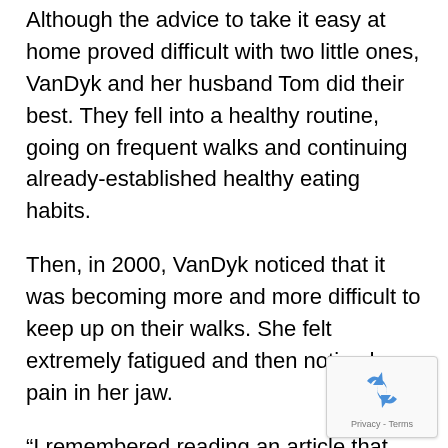Although the advice to take it easy at home proved difficult with two little ones, VanDyk and her husband Tom did their best. They fell into a healthy routine, going on frequent walks and continuing already-established healthy eating habits.
Then, in 2000, VanDyk noticed that it was becoming more and more difficult to keep up on their walks. She felt extremely fatigued and then noticed pain in her jaw.
“I remembered reading an article that that might be something,” she said.
Her second official heart attack diagnosis also didn’t come easily. Doctors couldn’t see any blockages told her that her “arteries look great”. She stayed hospital for about nine hours total waiting for her heart
[Figure (other): reCAPTCHA logo badge with Privacy - Terms text]